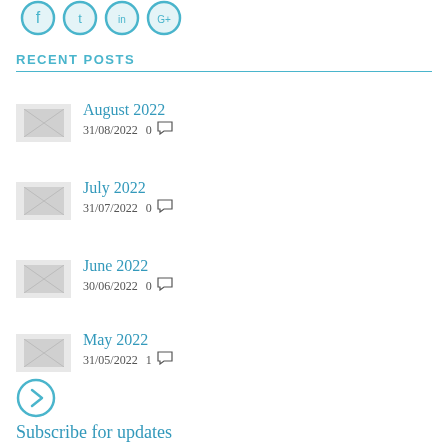[Figure (other): Social media icon circles (partially visible at top)]
RECENT POSTS
August 2022 — 31/08/2022  0 comments
July 2022 — 31/07/2022  0 comments
June 2022 — 30/06/2022  0 comments
May 2022 — 31/05/2022  1 comment
[Figure (other): Right-arrow circle navigation button]
Subscribe for updates